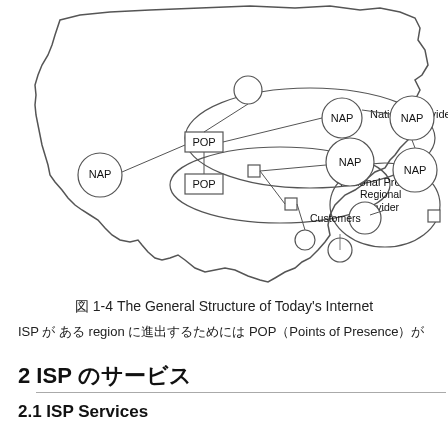[Figure (network-graph): Map of the United States showing the general structure of Today's Internet with NAP nodes (circles), POP nodes (rectangles), National Providers (large oval regions), Regional Provider (large oval region), and Customers labels, connected by lines indicating network connections.]
図 1-4 The General Structure of Today's Internet
ISP が ある region に進出するためには POP（Points of Presence）が
2 ISP のサービス
2.1 ISP Services